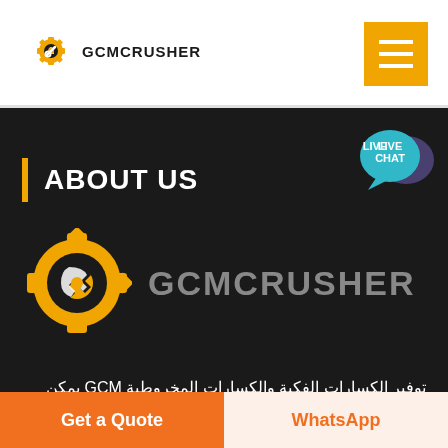GCMCRUSHER
ABOUT US
[Figure (logo): GCMCRUSHER logo with gear/wrench icon in yellow and grey text]
توفير الكسارات الفكية والكسارات المخروطية GCM يمكن لشركة وآلات الطحن وآلات تصنيع الرمل. يمكن مطابقتها بحرية لتلبية احتياجات الإنتاج والأنواع المختلفة لمجموع البناء.
Get a Quote
WhatsApp